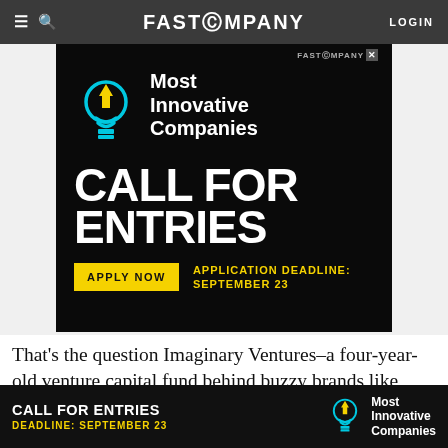FAST COMPANY — LOGIN
[Figure (infographic): Fast Company 'Most Innovative Companies — Call for Entries' advertisement on black background with cyan/yellow lightbulb logo, white bold text, yellow Apply Now button, and yellow deadline text: APPLICATION DEADLINE: SEPTEMBER 23]
That's the question Imaginary Ventures–a four-year-old venture capital fund behind buzzy brands like Glossier, Everlane, Reformation, and Stripe–is trying to answer as it moves into the future of consumerism
[Figure (infographic): Bottom sticky ad: CALL FOR ENTRIES — Most Innovative Companies — DEADLINE: SEPTEMBER 23 on dark background with lightbulb icon]